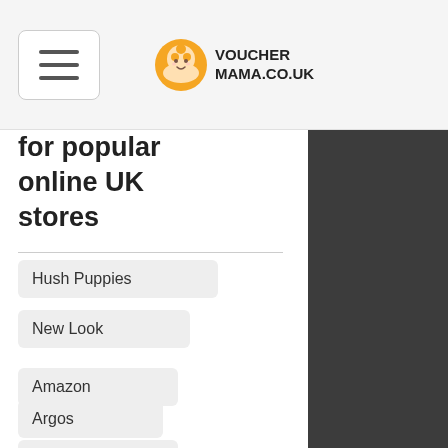VoucherMama.co.uk
for popular online UK stores
Hush Puppies
ASOS
Travelodge
New Look
Amazon
Argos
PC World